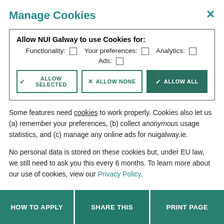Manage Cookies
Allow NUI Galway to use Cookies for: Functionality: ☐ Your preferences: ☐ Analytics: ☐ Ads: ☐
Some features need cookies to work properly. Cookies also let us (a) remember your preferences, (b) collect anonymous usage statistics, and (c) manage any online ads for nuigalway.ie.
No personal data is stored on these cookies but, under EU law, we still need to ask you this every 6 months. To learn more about our use of cookies, view our Privacy Policy.
HOW TO APPLY   SHARE THIS   PRINT PAGE